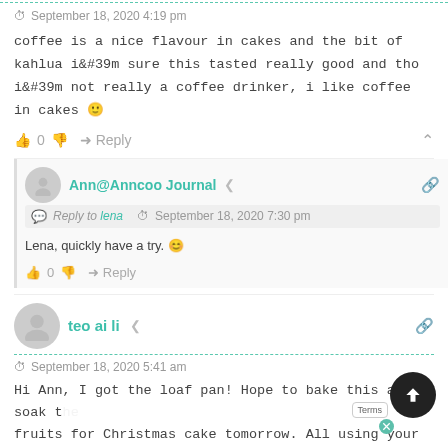September 18, 2020 4:19 pm
coffee is a nice flavour in cakes and the bit of kahlua i&#39m sure this tasted really good and tho i&#39m not really a coffee drinker, i like coffee in cakes 🙂
👍 0 👎 → Reply ∧
Ann@Anncoo Journal
Reply to lena   September 18, 2020 7:30 pm
Lena, quickly have a try. 😊
👍 0 👎 → Reply
teo ai li
September 18, 2020 5:41 am
Hi Ann, I got the loaf pan! Hope to bake this and soak the fruits for Christmas cake tomorrow. All using your recipes!